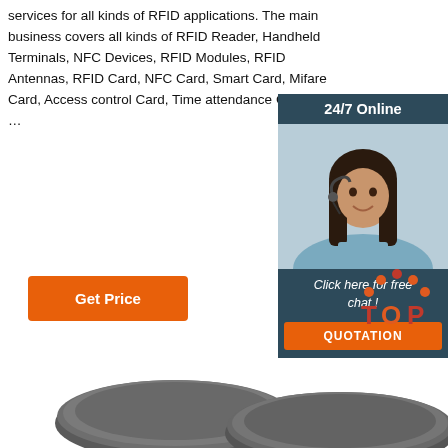services for all kinds of RFID applications. The main business covers all kinds of RFID Reader, Handheld Terminals, NFC Devices, RFID Modules, RFID Antennas, RFID Card, NFC Card, Smart Card, Mifare Card, Access control Card, Time attendance Card, Bus …
Get Price
[Figure (illustration): Customer service representative chat widget showing '24/7 Online', a photo of a smiling woman with headset, 'Click here for free chat!' text, and an orange QUOTATION button]
[Figure (logo): TOP logo with orange dots arranged in an arc above the word TOP in orange and dark red text]
[Figure (photo): Two dark gray round RFID disc tags photographed from above, partially visible at bottom of page]